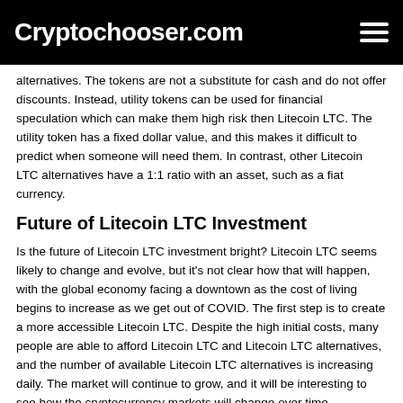Cryptochooser.com
alternatives. The tokens are not a substitute for cash and do not offer discounts. Instead, utility tokens can be used for financial speculation which can make them high risk then Litecoin LTC. The utility token has a fixed dollar value, and this makes it difficult to predict when someone will need them. In contrast, other Litecoin LTC alternatives have a 1:1 ratio with an asset, such as a fiat currency.
Future of Litecoin LTC Investment
Is the future of Litecoin LTC investment bright? Litecoin LTC seems likely to change and evolve, but it's not clear how that will happen, with the global economy facing a downtown as the cost of living begins to increase as we get out of COVID. The first step is to create a more accessible Litecoin LTC. Despite the high initial costs, many people are able to afford Litecoin LTC and Litecoin LTC alternatives, and the number of available Litecoin LTC alternatives is increasing daily. The market will continue to grow, and it will be interesting to see how the cryptocurrency markets will change over time.